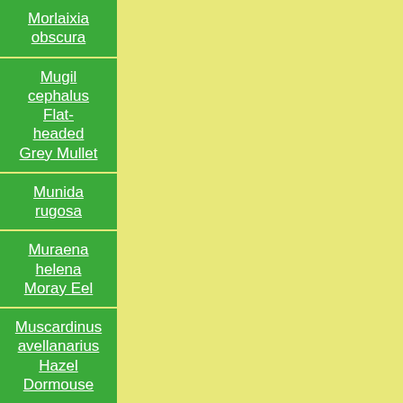Morlaixia obscura
Mugil cephalus Flat-headed Grey Mullet
Munida rugosa
Muraena helena Moray Eel
Muscardinus avellanarius Hazel Dormouse
Mustela